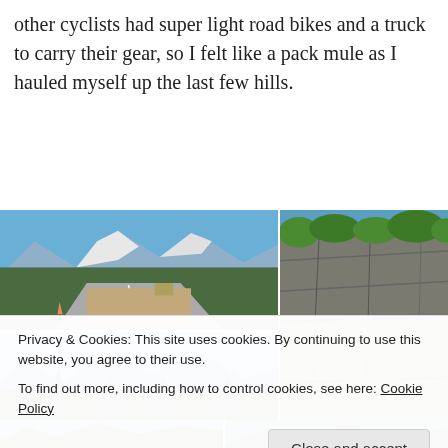other cyclists had super light road bikes and a truck to carry their gear, so I felt like a pack mule as I hauled myself up the last few hills.
[Figure (photo): Top-left: mountain road with snow-capped peaks and evergreen trees; Top-right: rocky cliff face with green vegetation; Bottom-left: mountain valley with trees]
Privacy & Cookies: This site uses cookies. By continuing to use this website, you agree to their use.
To find out more, including how to control cookies, see here: Cookie Policy
[Figure (photo): Bottom strip: two partial mountain/forest photos]